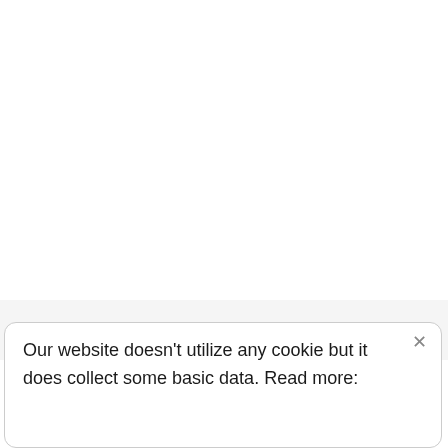Infocus Mag
Our website doesn't utilize any cookie but it does collect some basic data. Read more: